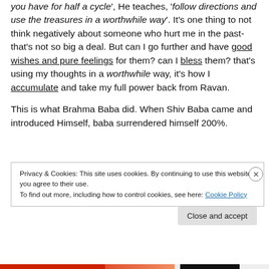you have for half a cycle', He teaches, 'follow directions and use the treasures in a worthwhile way'. It's one thing to not think negatively about someone who hurt me in the past- that's not so big a deal. But can I go further and have good wishes and pure feelings for them? can I bless them? that's using my thoughts in a worthwhile way, it's how I accumulate and take my full power back from Ravan.

This is what Brahma Baba did. When Shiv Baba came and introduced Himself, baba surrendered himself 200%.
Privacy & Cookies: This site uses cookies. By continuing to use this website, you agree to their use.
To find out more, including how to control cookies, see here: Cookie Policy